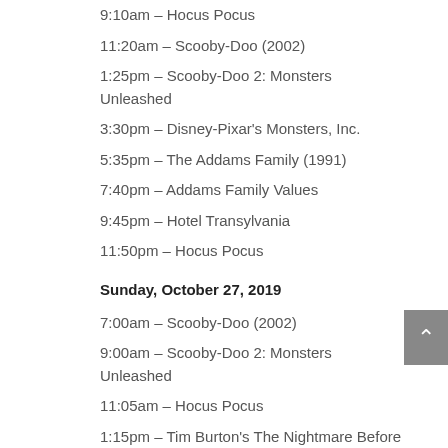9:10am – Hocus Pocus
11:20am – Scooby-Doo (2002)
1:25pm – Scooby-Doo 2: Monsters Unleashed
3:30pm – Disney-Pixar's Monsters, Inc.
5:35pm – The Addams Family (1991)
7:40pm – Addams Family Values
9:45pm – Hotel Transylvania
11:50pm – Hocus Pocus
Sunday, October 27, 2019
7:00am – Scooby-Doo (2002)
9:00am – Scooby-Doo 2: Monsters Unleashed
11:05am – Hocus Pocus
1:15pm – Tim Burton's The Nightmare Before Christmas
2:55pm – The Addams Family (1991)
5:00pm – Addams Family Values
7:05pm – Hotel Transylvania